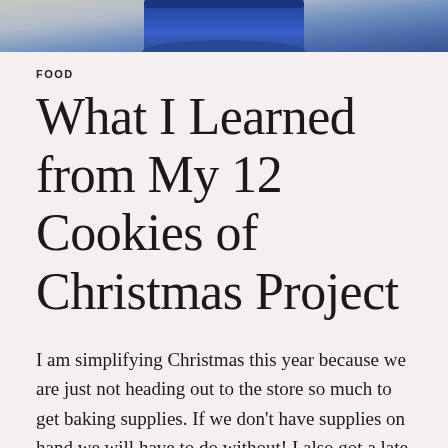[Figure (photo): Partial photo at top of page showing a blue object, likely a bowl or ceramic item, with a muted tan/grey background]
FOOD
What I Learned from My 12 Cookies of Christmas Project
I am simplifying Christmas this year because we are just not heading out to the store so much to get baking supplies. If we don't have supplies on hand we will have to do without! I also got a late start, as we just weren't sure what was going on in our part of